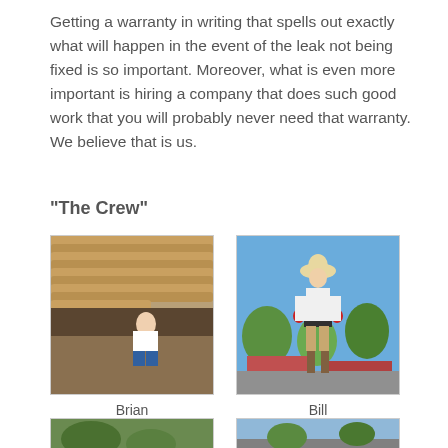Getting a warranty in writing that spells out exactly what will happen in the event of the leak not being fixed is so important. Moreover, what is even more important is hiring a company that does such good work that you will probably never need that warranty. We believe that is us.
“The Crew”
[Figure (photo): Photo of a crew member named Brian working on a tile roof, sitting near the edge of the roof]
Brian
[Figure (photo): Photo of a crew member named Bill standing on a flat roof wearing a hat and gloves]
Bill
[Figure (photo): Partial photo of crew member at bottom of page (left)]
[Figure (photo): Partial photo of crew member at bottom of page (right)]